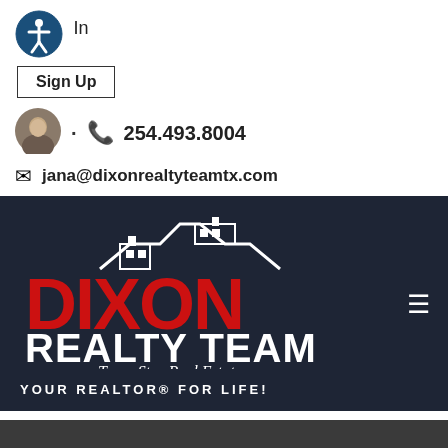[Figure (logo): Accessibility icon - blue circle with white person figure]
In
Sign Up
[Figure (photo): Small circular avatar photo of a woman]
· 📞 254.493.8004
✉ jana@dixonrealtyteamtx.com
[Figure (logo): Dixon Realty Team logo - red DIXON text with white REALTY TEAM text, Brokered By: Texas Star Real Estate, on dark navy background]
YOUR REALTOR® FOR LIFE!